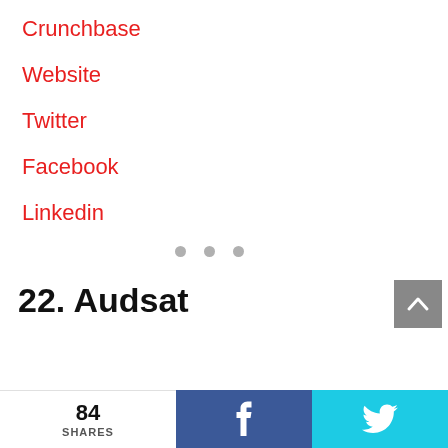Crunchbase
Website
Twitter
Facebook
Linkedin
22. Audsat
84 SHARES  f  🐦